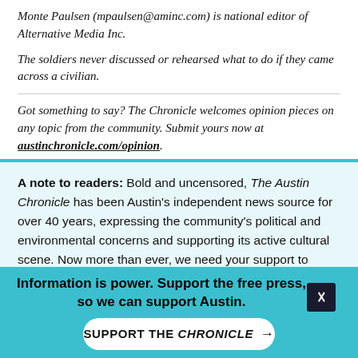Monte Paulsen (mpaulsen@aminc.com) is national editor of Alternative Media Inc.
The soldiers never discussed or rehearsed what to do if they came across a civilian.
Got something to say? The Chronicle welcomes opinion pieces on any topic from the community. Submit yours now at austinchronicle.com/opinion.
A note to readers: Bold and uncensored, The Austin Chronicle has been Austin's independent news source for over 40 years, expressing the community's political and environmental concerns and supporting its active cultural scene. Now more than ever, we need your support to continue supplying Austin with independent, free press. If real news is important to you, please consider making
Information is power. Support the free press, so we can support Austin.
SUPPORT THE CHRONICLE →